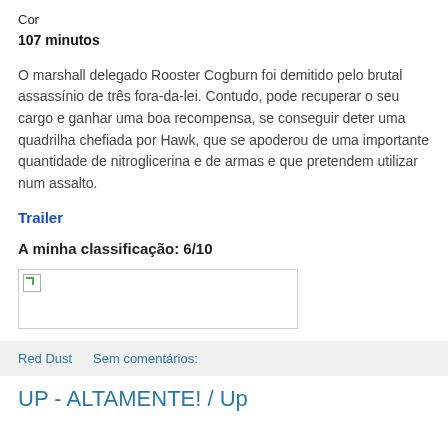Cor
107 minutos
O marshall delegado Rooster Cogburn foi demitido pelo brutal assassínio de três fora-da-lei. Contudo, pode recuperar o seu cargo e ganhar uma boa recompensa, se conseguir deter uma quadrilha chefiada por Hawk, que se apoderou de uma importante quantidade de nitroglicerina e de armas e que pretendem utilizar num assalto.
Trailer
A minha classificação: 6/10
[Figure (photo): Broken image placeholder]
Red Dust    Sem comentários:
UP - ALTAMENTE! / Up